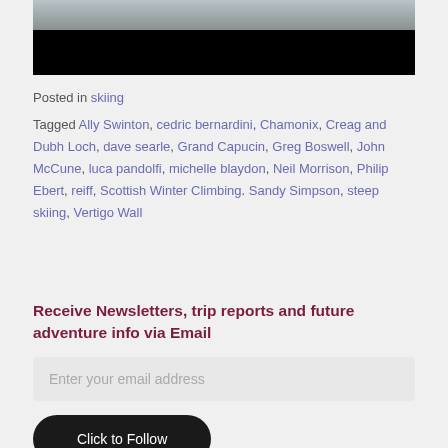[Figure (photo): Partial view of a snowy mountain/rock climbing scene at the top, with a black bar below it]
Posted in skiing
Tagged Ally Swinton, cedric bernardini, Chamonix, Creag and Dubh Loch, dave searle, Grand Capucin, Greg Boswell, John McCune, luca pandolfi, michelle blaydon, Neil Morrison, Philip Ebert, reiff, Scottish Winter Climbing. Sandy Simpson, steep skiing, Vertigo Wall
Receive Newsletters, trip reports and future adventure info via Email
Enter your email address
Click to Follow